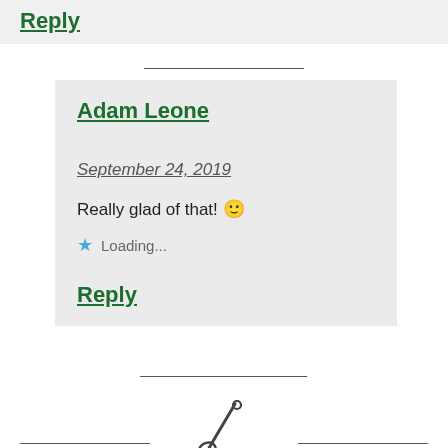Reply
Adam Leone
September 24, 2019
Really glad of that! 🙂
Loading...
Reply
[Figure (illustration): Small shovel/spade icon at the bottom center of the page]